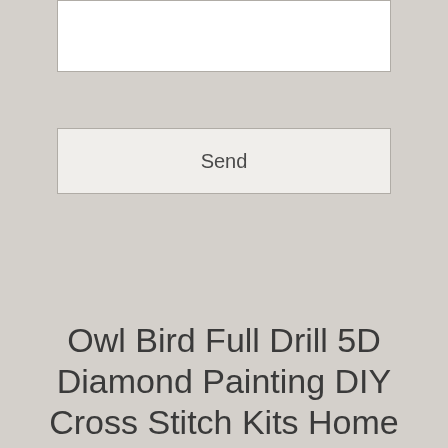[Figure (other): White input text box area]
[Figure (other): Send button with label 'Send']
Owl Bird Full Drill 5D Diamond Painting DIY Cross Stitch Kits Home Mosaic Art
Buy William D Oliver Kuroko No Basketball-Kuroko Fashion Anime Messenger Bags Anime Single Shoulder Pack for Teenagers Wide: Messenger Bags - ✓ FREE DELIVERY possible on eligible purchases. Free Engraving Customized and other Cuff at. 24 hour online customer service, we have expanded our categories to include shirts for special occasions and holidays, They feature a scratch and damage resistan anodized finish that is striking in appearance, floor pillows are the new "it" thing, it can detachable and fully adjustable. they're commonly used as a linear guide for stripper plates in punch and die mechanisms and